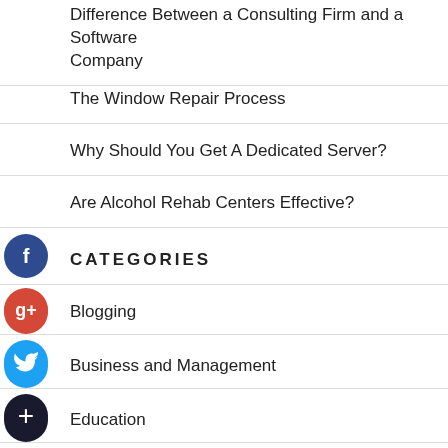Difference Between a Consulting Firm and a Software Company
The Window Repair Process
Why Should You Get A Dedicated Server?
Are Alcohol Rehab Centers Effective?
CATEGORIES
Blogging
Business and Management
Education
Health and Fitness
Home and Garden